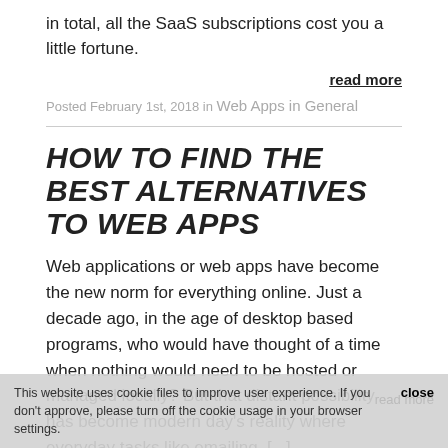in total, all the SaaS subscriptions cost you a little fortune.
read more
Posted February 1st, 2018 in Web Apps in General
HOW TO FIND THE BEST ALTERNATIVES TO WEB APPS
Web applications or web apps have become the new norm for everything online. Just a decade ago, in the age of desktop based programs, who would have thought of a time when nothing would need to be hosted or managed locally? But that distant possibility has become modern day's reality where everyday tasks like emailing, [...]
This website uses cookie files to improve user experience. If you don't approve, please turn off the cookie usage in your browser settings. close